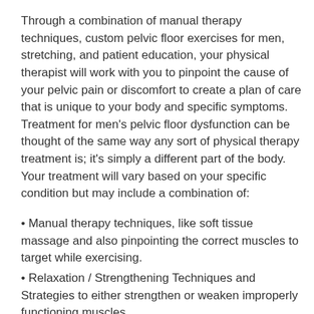Through a combination of manual therapy techniques, custom pelvic floor exercises for men, stretching, and patient education, your physical therapist will work with you to pinpoint the cause of your pelvic pain or discomfort to create a plan of care that is unique to your body and specific symptoms. Treatment for men's pelvic floor dysfunction can be thought of the same way any sort of physical therapy treatment is; it's simply a different part of the body. Your treatment will vary based on your specific condition but may include a combination of:
Manual therapy techniques, like soft tissue massage and also pinpointing the correct muscles to target while exercising.
Relaxation / Strengthening Techniques and Strategies to either strengthen or weaken improperly functioning muscles.
Patient Education to learn how to locate specific muscles while performing pelvic floor exercises for men.